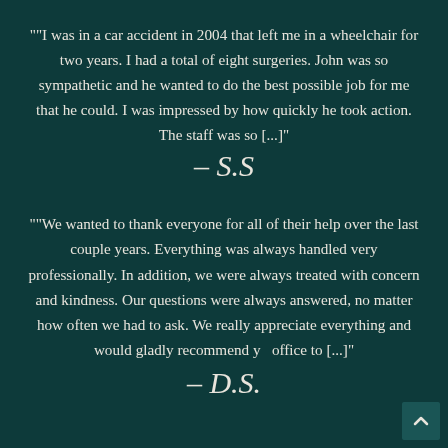""I was in a car accident in 2004 that left me in a wheelchair for two years. I had a total of eight surgeries. John was so sympathetic and he wanted to do the best possible job for me that he could. I was impressed by how quickly he took action. The staff was so [...]"
– S.S
""We wanted to thank everyone for all of their help over the last couple years. Everything was always handled very professionally. In addition, we were always treated with concern and kindness. Our questions were always answered, no matter how often we had to ask. We really appreciate everything and would gladly recommend yo office to [...]"
– D.S.